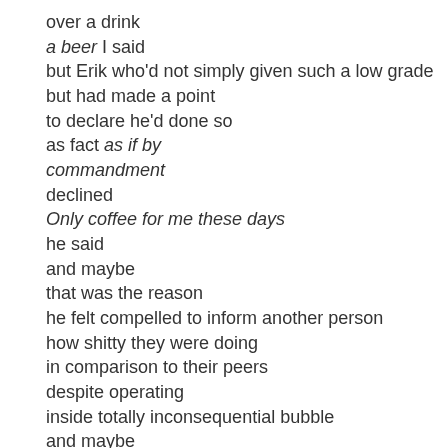over a drink
a beer I said
but Erik who'd not simply given such a low grade
but had made a point
to declare he'd done so
as fact as if by
commandment
declined
Only coffee for me these days
he said
and maybe
that was the reason
he felt compelled to inform another person
how shitty they were doing
in comparison to their peers
despite operating
inside totally inconsequential bubble
and maybe
it was a reason
I decided to exit
My bones
screaming
you people